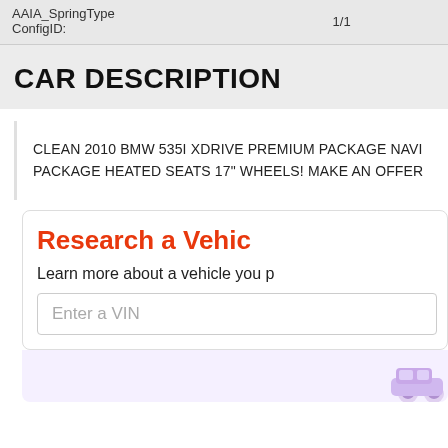| AAIA_SpringType ConfigID: | 1/1 |
| --- | --- |
CAR DESCRIPTION
CLEAN 2010 BMW 535I XDRIVE PREMIUM PACKAGE NAVI PACKAGE HEATED SEATS 17" WHEELS! MAKE AN OFFER
Research a Vehicle
Learn more about a vehicle you p
Enter a VIN